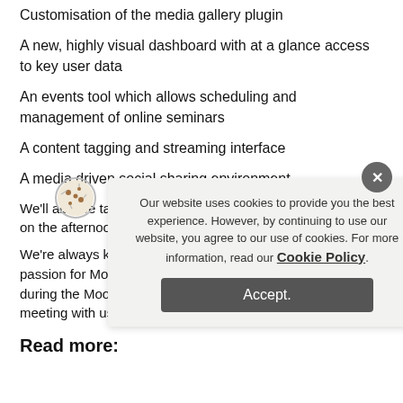Customisation of the media gallery plugin
A new, highly visual dashboard with at a glance access to key user data
An events tool which allows scheduling and management of online seminars
A content tagging and streaming interface
A media driven social sharing environment
We'll also be taking part in a special demonstration session on the afternoon of the 27th.
We're always keen to hear from anyone who shares our passion for Moodle, and we look forward to meeting you during the Moodle Moot. If you'd like to book a specific meeting with us during the event, click below:
Read more: